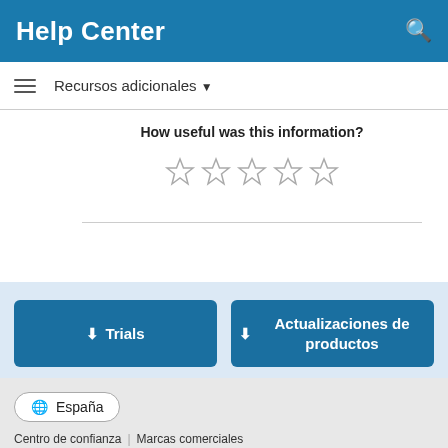Help Center
Recursos adicionales ▾
How useful was this information?
[Figure (other): Five empty star rating icons in a row]
⬇ Trials
⬇ Actualizaciones de productos
🌐 España | Centro de confianza | Marcas comerciales | Política de privacidad | Antipiratería | Estado